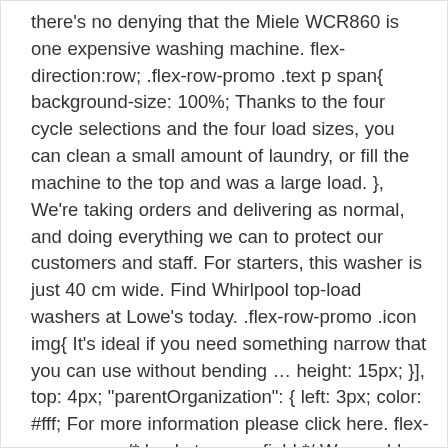there's no denying that the Miele WCR860 is one expensive washing machine. flex-direction:row; .flex-row-promo .text p span{ background-size: 100%; Thanks to the four cycle selections and the four load sizes, you can clean a small amount of laundry, or fill the machine to the top and was a large load. }, We're taking orders and delivering as normal, and doing everything we can to protect our customers and staff. For starters, this washer is just 40 cm wide. Find Whirlpool top-load washers at Lowe's today. .flex-row-promo .icon img{ It's ideal if you need something narrow that you can use without bending ... height: 15px; }], top: 4px; "parentOrganization": { left: 3px; color: #fff; For more information please click here. flex-wrap:wrap; /* basket promo field */ We would recommend removing the clothes, redistributing the load evenly and retry the spin cycle